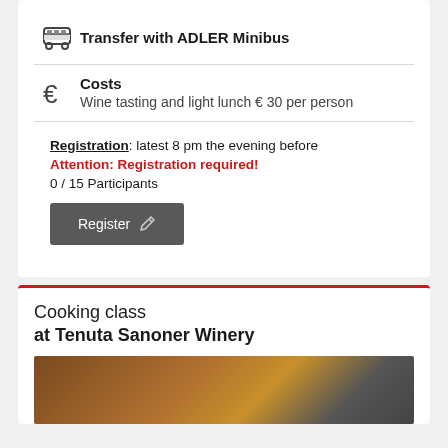Transfer with ADLER Minibus
Costs
Wine tasting and light lunch € 30 per person
Registration: latest 8 pm the evening before
Attention: Registration required!
0 / 15 Participants
Register
Cooking class
at Tenuta Sanoner Winery
[Figure (photo): Photo of a chef in a white hat at a winery, partially visible at the bottom of the page]